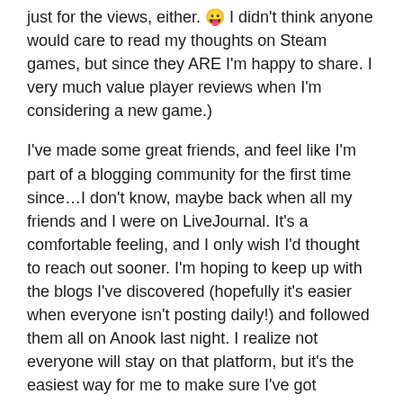just for the views, either. 😛 I didn't think anyone would care to read my thoughts on Steam games, but since they ARE I'm happy to share. I very much value player reviews when I'm considering a new game.)
I've made some great friends, and feel like I'm part of a blogging community for the first time since…I don't know, maybe back when all my friends and I were on LiveJournal. It's a comfortable feeling, and I only wish I'd thought to reach out sooner. I'm hoping to keep up with the blogs I've discovered (hopefully it's easier when everyone isn't posting daily!) and followed them all on Anook last night. I realize not everyone will stay on that platform, but it's the easiest way for me to make sure I've got everyone. While Feedly is a great option, I haven't been using it nearly as much as I'd expected.